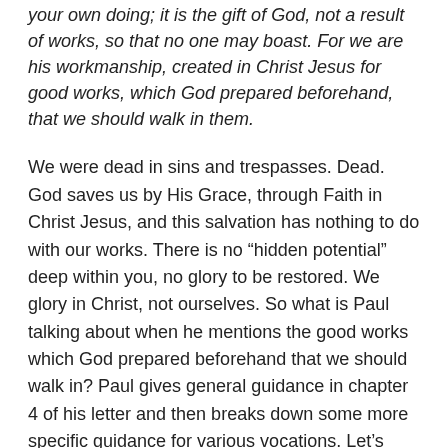your own doing; it is the gift of God, not a result of works, so that no one may boast. For we are his workmanship, created in Christ Jesus for good works, which God prepared beforehand, that we should walk in them.
We were dead in sins and trespasses. Dead. God saves us by His Grace, through Faith in Christ Jesus, and this salvation has nothing to do with our works. There is no “hidden potential” deep within you, no glory to be restored. We glory in Christ, not ourselves. So what is Paul talking about when he mentions the good works which God prepared beforehand that we should walk in? Paul gives general guidance in chapter 4 of his letter and then breaks down some more specific guidance for various vocations. Let’s look at the general description of this New Life we’ve been called to walk in:
Ephesians 4:17-32 (ESV) | The New Life